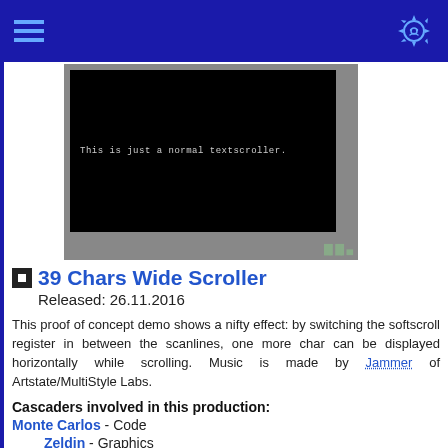[Figure (screenshot): A black screen showing the text 'This is just a normal textscroller.' with a pixel/retro logo in the bottom right corner, displayed on a grey background frame.]
39 Chars Wide Scroller
Released: 26.11.2016
This proof of concept demo shows a nifty effect: by switching the softscroll register in between the scanlines, one more char can be displayed horizontally while scrolling. Music is made by Jammer of Artstate/MultiStyle Labs.
Cascaders involved in this production:
Monte Carlos - Code
Zeldin - Graphics